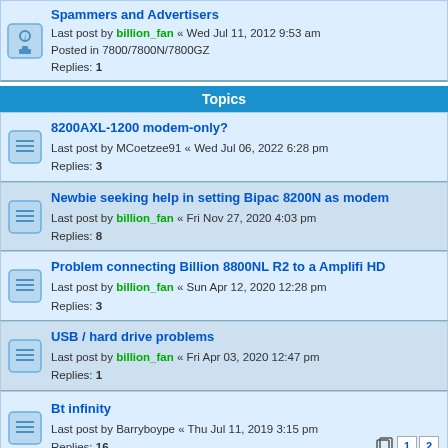Spammers and Advertisers - Last post by billion_fan « Wed Jul 11, 2012 9:53 am - Posted in 7800/7800N/7800GZ - Replies: 1
Topics
8200AXL-1200 modem-only? - Last post by MCoetzee91 « Wed Jul 06, 2022 6:28 pm - Replies: 3
Newbie seeking help in setting Bipac 8200N as modem - Last post by billion_fan « Fri Nov 27, 2020 4:03 pm - Replies: 8
Problem connecting Billion 8800NL R2 to a Amplifi HD - Last post by billion_fan « Sun Apr 12, 2020 12:28 pm - Replies: 3
USB / hard drive problems - Last post by billion_fan « Fri Apr 03, 2020 12:47 pm - Replies: 1
Bt infinity - Last post by Barryboype « Thu Jul 11, 2019 3:15 pm - Replies: 16
TalkTalk Fibre - Last post by billion_fan « Fri Jul 05, 2019 9:18 am - Replies: 17
Firmware and irewall - Last post by billion_fan « Mon Jul 09, 2018 9:25 am - Replies: 3